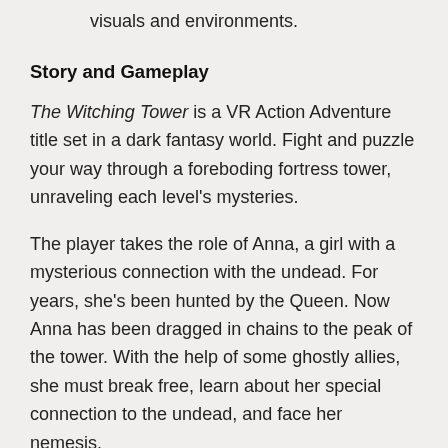visuals and environments.
Story and Gameplay
The Witching Tower is a VR Action Adventure title set in a dark fantasy world. Fight and puzzle your way through a foreboding fortress tower, unraveling each level's mysteries.
The player takes the role of Anna, a girl with a mysterious connection with the undead. For years, she's been hunted by the Queen. Now Anna has been dragged in chains to the peak of the tower. With the help of some ghostly allies, she must break free, learn about her special connection to the undead, and face her nemesis.
The game offers the player a variety of experiences: solving puzzles, shooting, fighting with enemies in melee combat, and grabbing and throwing objects. Players will